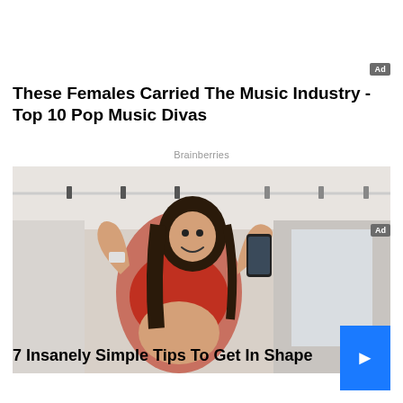Ad
These Females Carried The Music Industry - Top 10 Pop Music Divas
Brainberries
[Figure (photo): A fit woman in a red sports bra taking a selfie in a gym mirror, flexing her bicep and smiling. She holds a black smartphone. Gym equipment and track lighting visible in background.]
Ad
7 Insanely Simple Tips To Get In Shape